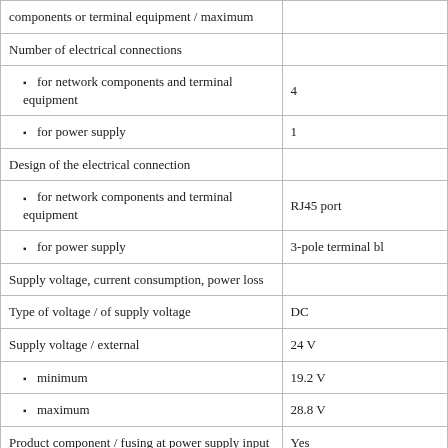| Property | Value |
| --- | --- |
| components or terminal equipment / maximum |  |
| Number of electrical connections |  |
|   • for network components and terminal equipment | 4 |
|   • for power supply | 1 |
| Design of the electrical connection |  |
|   • for network components and terminal equipment | RJ45 port |
|   • for power supply | 3-pole terminal bl… |
| Supply voltage, current consumption, power loss |  |
| Type of voltage / of supply voltage | DC |
| Supply voltage / external | 24 V |
|   • minimum | 19.2 V |
|   • maximum | 28.8 V |
| Product component / fusing at power supply input | Yes |
| Type of fusing / at input for supply voltage | 0,5 A / 60 V |